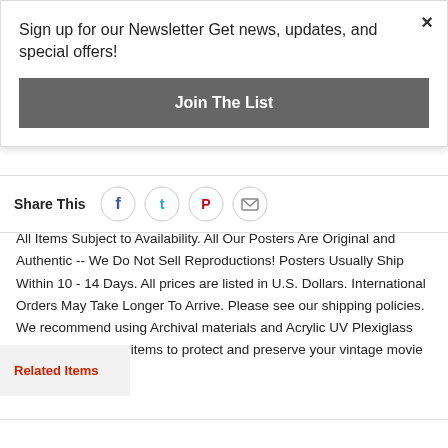Sign up for our Newsletter Get news, updates, and special offers!
Join The List
Share This
[Figure (infographic): Social share buttons: Facebook, Twitter, Pinterest, Email]
All Items Subject to Availability. All Our Posters Are Original and Authentic -- We Do Not Sell Reproductions! Posters Usually Ship Within 10 - 14 Days. All prices are listed in U.S. Dollars. International Orders May Take Longer To Arrive. Please see our shipping policies. We recommend using Archival materials and Acrylic UV Plexiglass when framing your items to protect and preserve your vintage movie posters.
Related Items